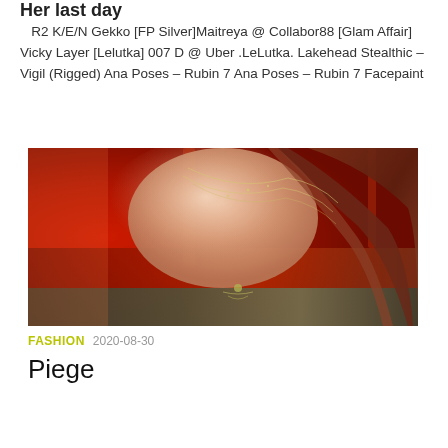Her last day
R2 K/E/N Gekko [FP Silver]Maitreya @ Collabor88 [Glam Affair] Vicky Layer [Lelutka] 007 D @ Uber .LeLutka. Lakehead Stealthic – Vigil (Rigged) Ana Poses – Rubin 7 Ana Poses – Rubin 7 Facepaint
[Figure (photo): Fashion/virtual world photo showing a figure with long auburn hair and body chain jewelry against a red blurred background]
FASHION 2020-08-30
Piege